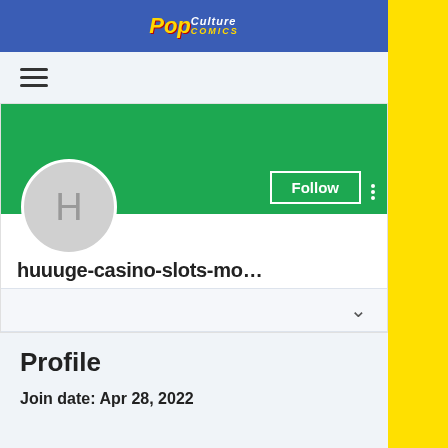[Figure (logo): Pop Culture Comics logo banner in blue background]
[Figure (other): Hamburger menu icon (three horizontal lines)]
[Figure (other): Green profile banner with Follow button and more options dots]
[Figure (other): Gray circle avatar with letter H]
huuuge-casino-slots-mo...
[Figure (other): Dropdown chevron bar]
Profile
Join date: Apr 28, 2022